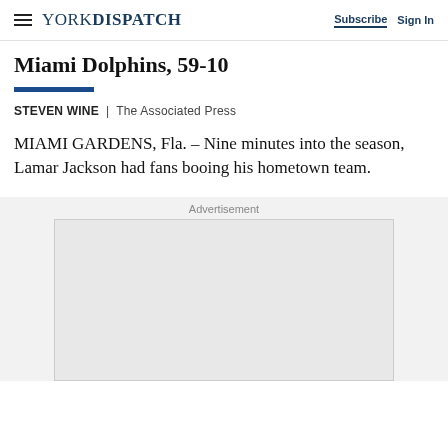YORK DISPATCH | Subscribe | Sign In
Miami Dolphins, 59-10
STEVEN WINE | The Associated Press
MIAMI GARDENS, Fla. – Nine minutes into the season, Lamar Jackson had fans booing his hometown team.
Advertisement